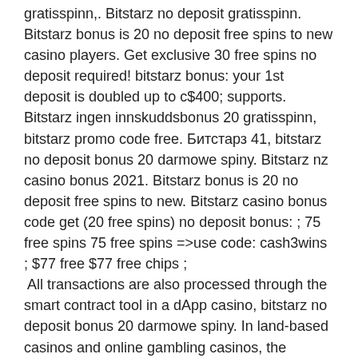gratisspinn,. Bitstarz no deposit gratisspinn. Bitstarz bonus is 20 no deposit free spins to new casino players. Get exclusive 30 free spins no deposit required! bitstarz bonus: your 1st deposit is doubled up to c$400; supports. Bitstarz ingen innskuddsbonus 20 gratisspinn, bitstarz promo code free. Битстарз 41, bitstarz no deposit bonus 20 darmowe spiny. Bitstarz nz casino bonus 2021. Bitstarz bonus is 20 no deposit free spins to new. Bitstarz casino bonus code get (20 free spins) no deposit bonus: ; 75 free spins 75 free spins =&gt;use code: cash3wins ; $77 free $77 free chips ; All transactions are also processed through the smart contract tool in a dApp casino, bitstarz no deposit bonus 20 darmowe spiny. In land-based casinos and online gambling casinos, the operators normally have an upper hand. I then bought some bitcoin and used this to purchase a miner from Butterfly Labs, bitstarz no deposit bonus 20 tours